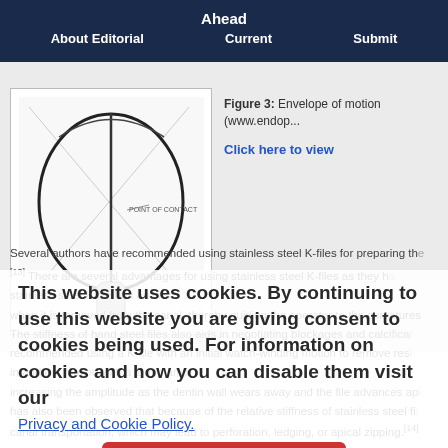Ahead | About Editorial | Current | Submit
[Figure (illustration): Dental instrument envelope of motion diagram showing a circular arc path with contact point label]
Figure 3: Envelope of motion (www.endop... Click here to view
Several authors have recommended using stainless steel K-files for preparing th... [13] There are several advantages for using stainless steel K-files as they h... stainless steel K-file has an im... when it is removed from the canal, thereby guiding the operator to the curvatures. The stiffness of hand steel files also aids in negotiating blockages and calcifica... recommended using a K-file with an initial watch-winding motion to remove res... in and out motion with a 1 mm amp... increasing the amplitude as the dentin wall wears away and the file advances ap... has also been observed that because of the relative stiffness of stainless steel fi... canal transportation, which may lead to perforation, ledging, or apical zipping.[14].
In 2008, Kinsey and Mounce described a technique using a reciprocating handpie... size K-file for glide path preparation.[16] The main advantages of using the reci...
This website uses cookies. By continuing to use this website you are giving consent to cookies being used. For information on cookies and how you can disable them visit our Privacy and Cookie Policy. AGREE & PROCEED